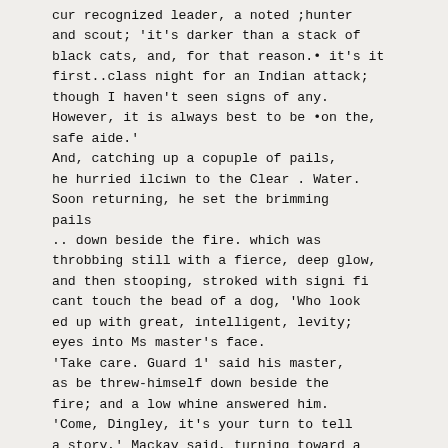cur recognized leader, a noted ;hunter and scout; 'it's darker than a stack of black cats, and, for that reason.• it's it first..class night for an Indian attack; though I haven't seen signs of any. However, it is always best to be •on the, safe aide.'
And, catching up a copuple of pails, he hurried ilciwn to the Clear . Water. Soon returning, he set the brimming pails
.. down beside the fire. which was throbbing still with a fierce, deep glow, and then stooping, stroked with signi fi cant touch the bead of a dog, 'Who look ed up with great, intelligent, levity; eyes into Ms master's face.
'Take care. Guard 1' said his master, as be threw-himself down beside the fire; and a low whine answered him.
'Come, Dingley, it's your turn to tell a story,' Mackay said, turning toward a long f gaunt man, with one of the home liest faces that ever disfigured a man's lpersonal appearance, yet, who, never,